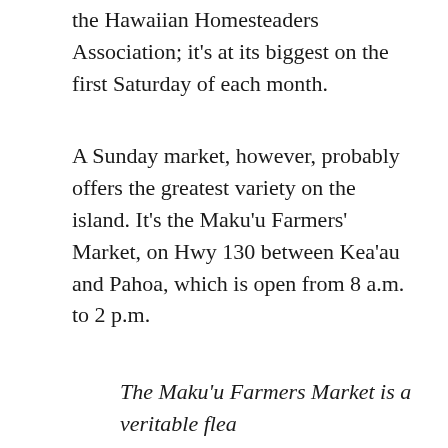the Hawaiian Homesteaders Association; it's at its biggest on the first Saturday of each month.
A Sunday market, however, probably offers the greatest variety on the island. It's the Maku'u Farmers' Market, on Hwy 130 between Kea'au and Pahoa, which is open from 8 a.m. to 2 p.m.
The Maku'u Farmers Market is a veritable flea